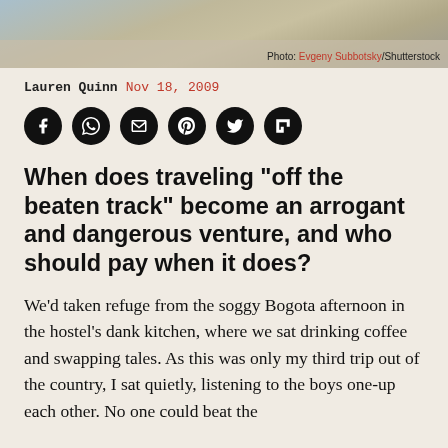[Figure (photo): Partial photo strip showing a snowy or cloudy outdoor scene at the top of the page]
Photo: Evgeny Subbotsky/Shutterstock
Lauren Quinn  Nov 18, 2009
[Figure (infographic): Six black circular social sharing icons: Facebook, WhatsApp, Email, Pinterest, Twitter, Flipboard]
When does traveling “off the beaten track” become an arrogant and dangerous venture, and who should pay when it does?
We’d taken refuge from the soggy Bogota afternoon in the hostel’s dank kitchen, where we sat drinking coffee and swapping tales. As this was only my third trip out of the country, I sat quietly, listening to the boys one-up each other. No one could beat the